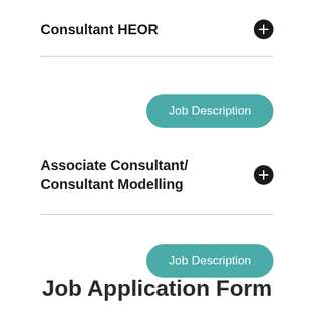Consultant HEOR
[Figure (other): Job Description button - teal rounded pill button]
Associate Consultant/ Consultant Modelling
[Figure (other): Job Description button - teal rounded pill button]
Job Application Form